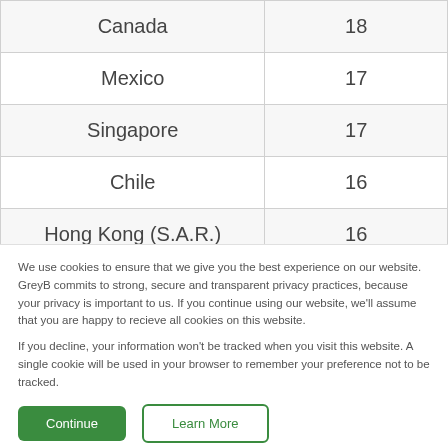| Country | Count |
| --- | --- |
| Canada | 18 |
| Mexico | 17 |
| Singapore | 17 |
| Chile | 16 |
| Hong Kong (S.A.R.) | 16 |
| India (partial) | 15 (partial) |
We use cookies to ensure that we give you the best experience on our website. GreyB commits to strong, secure and transparent privacy practices, because your privacy is important to us. If you continue using our website, we'll assume that you are happy to recieve all cookies on this website.
If you decline, your information won't be tracked when you visit this website. A single cookie will be used in your browser to remember your preference not to be tracked.